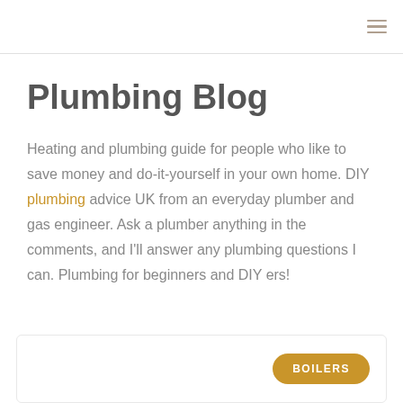≡
Plumbing Blog
Heating and plumbing guide for people who like to save money and do-it-yourself in your own home. DIY plumbing advice UK from an everyday plumber and gas engineer. Ask a plumber anything in the comments, and I'll answer any plumbing questions I can. Plumbing for beginners and DIY ers!
[Figure (other): Card area with BOILERS button]